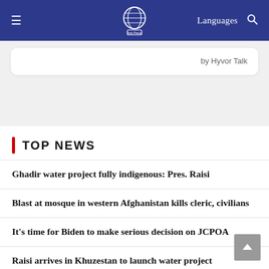Iran Press — Languages
by Hyvor Talk
TOP NEWS
Ghadir water project fully indigenous: Pres. Raisi
Blast at mosque in western Afghanistan kills cleric, civilians
It's time for Biden to make serious decision on JCPOA
Raisi arrives in Khuzestan to launch water project
Iran submits its views on summing up Vienna talks to coordinator: Spox